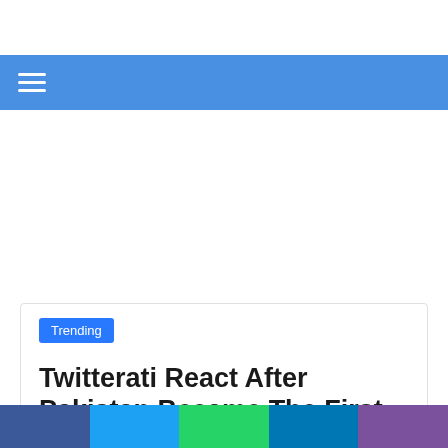[Figure (screenshot): Blue navigation bar with hamburger menu icon (three white horizontal lines) on a cornflower blue background]
Trending
Twitterati React After Pakistan Became The First